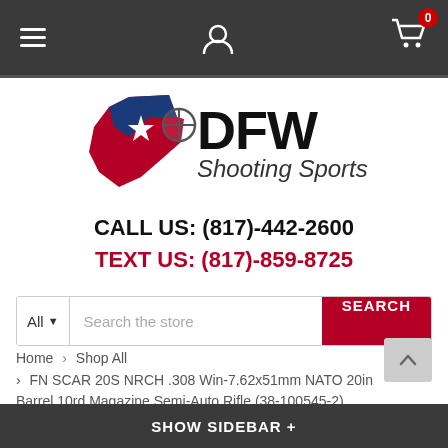[Figure (screenshot): Mobile website header navigation bar with hamburger menu, user icon, and shopping cart with 0 badge, on dark gray background]
[Figure (logo): DFW Shooting Sports logo with Texas state outline in red, white, blue with star, and crosshair scope icon, bold DFW text]
CALL US: (817)-442-2600
TEXT US: (817)-859-8725
[Figure (screenshot): Search bar with All category dropdown and Search the store placeholder, red SEARCH button]
Home > Shop All > FN SCAR 20S NRCH .308 Win-7.62x51mm NATO 20in Barrel 10rd Magazine Semi-Auto Rifle (38-100545-2)
SHOW SIDEBAR +